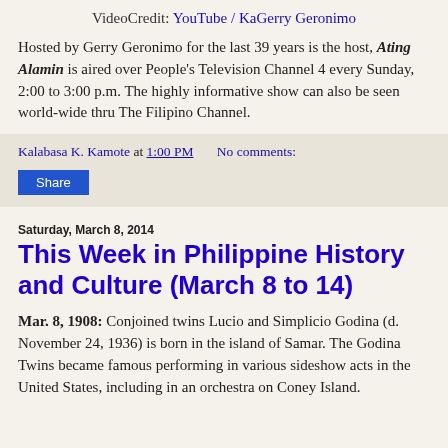VideoCredit: YouTube / KaGerry Geronimo
Hosted by Gerry Geronimo for the last 39 years is the host, Ating Alamin is aired over People's Television Channel 4 every Sunday, 2:00 to 3:00 p.m. The highly informative show can also be seen world-wide thru The Filipino Channel.
Kalabasa K. Kamote at 1:00 PM    No comments:
Share
Saturday, March 8, 2014
This Week in Philippine History and Culture (March 8 to 14)
Mar. 8, 1908: Conjoined twins Lucio and Simplicio Godina (d. November 24, 1936) is born in the island of Samar. The Godina Twins became famous performing in various sideshow acts in the United States, including in an orchestra on Coney Island.